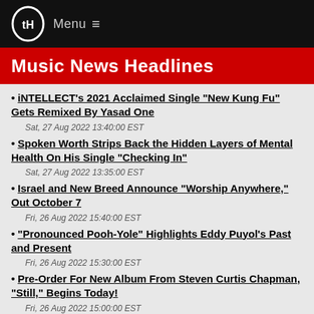Menu ≡
Music News Headlines
iNTELLECT's 2021 Acclaimed Single "New Kung Fu" Gets Remixed By Yasad One
Sat, 27 Aug 2022 13:40:00 EST
Spoken Worth Strips Back the Hidden Layers of Mental Health On His Single "Checking In"
Sat, 27 Aug 2022 13:35:00 EST
Israel and New Breed Announce "Worship Anywhere," Out October 7
Fri, 26 Aug 2022 15:40:00 EST
"Pronounced Pooh-Yole" Highlights Eddy Puyol's Past and Present
Fri, 26 Aug 2022 15:30:00 EST
Pre-Order For New Album From Steven Curtis Chapman, "Still," Begins Today!
Fri, 26 Aug 2022 15:00:00 EST
UK Artist Philippa Hanna Unveils Live Version Of Award-Winning Song